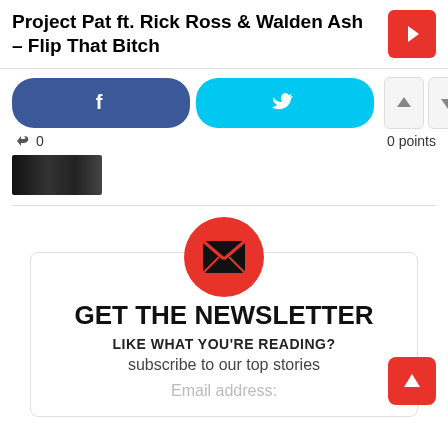Project Pat ft. Rick Ross & Walden Ash – Flip That Bitch
[Figure (screenshot): Facebook share button (blue rounded rectangle with 'f' icon) and Twitter share button (cyan rounded rectangle with bird icon), plus up/down vote buttons]
0
0 points
[Figure (photo): Small dark thumbnail image]
[Figure (infographic): Newsletter signup box with red circle mail icon, GET THE NEWSLETTER heading, LIKE WHAT YOU'RE READING? subheading, subscribe to our top stories text, and Email address placeholder]
GET THE NEWSLETTER
LIKE WHAT YOU'RE READING?
subscribe to our top stories
Email address: